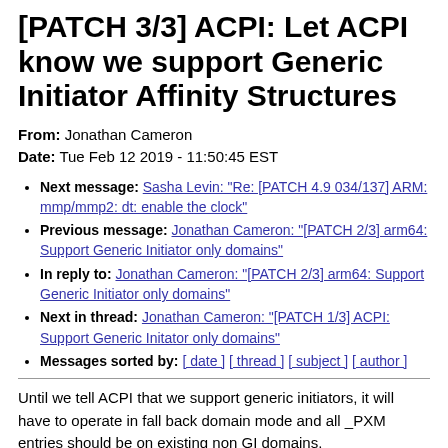[PATCH 3/3] ACPI: Let ACPI know we support Generic Initiator Affinity Structures
From: Jonathan Cameron
Date: Tue Feb 12 2019 - 11:50:45 EST
Next message: Sasha Levin: "Re: [PATCH 4.9 034/137] ARM: mmp/mmp2: dt: enable the clock"
Previous message: Jonathan Cameron: "[PATCH 2/3] arm64: Support Generic Initiator only domains"
In reply to: Jonathan Cameron: "[PATCH 2/3] arm64: Support Generic Initiator only domains"
Next in thread: Jonathan Cameron: "[PATCH 1/3] ACPI: Support Generic Initator only domains"
Messages sorted by: [ date ] [ thread ] [ subject ] [ author ]
Until we tell ACPI that we support generic initiators, it will have to operate in fall back domain mode and all _PXM entries should be on existing non GI domains.